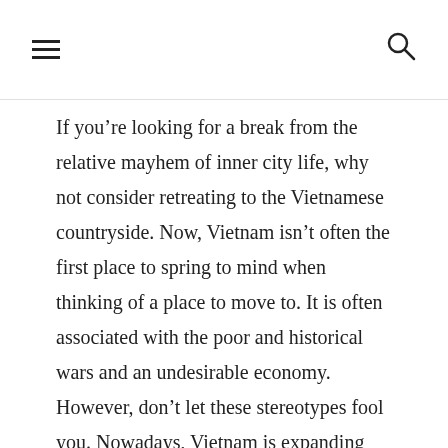[hamburger menu icon] [search icon]
If you’re looking for a break from the relative mayhem of inner city life, why not consider retreating to the Vietnamese countryside. Now, Vietnam isn’t often the first place to spring to mind when thinking of a place to move to. It is often associated with the poor and historical wars and an undesirable economy. However, don’t let these stereotypes fool you. Nowadays, Vietnam is expanding and its tragic past is slowly but surely being pushed aside with more positive imagery and an acknowledgement of its beautiful countryside and stunning beaches. The weather is tropical in the South and Monsoonal in the North, so choose an exact location